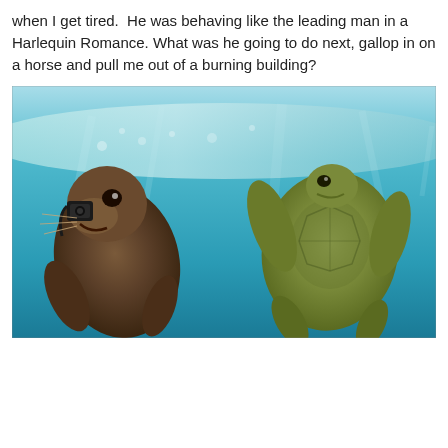when I get tired.  He was behaving like the leading man in a Harlequin Romance. What was he going to do next, gallop in on a horse and pull me out of a burning building?
[Figure (photo): Underwater photograph showing a sea lion or seal wearing what appears to be a camera or device on its face on the left side, and a sea turtle swimming on the right side, with blue water and the surface visible above.]